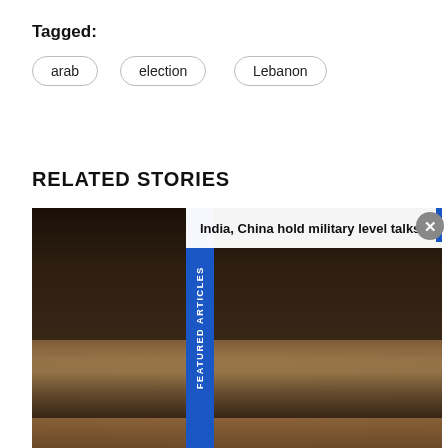Tagged:
arab
election
Lebanon
RELATED STORIES
[Figure (photo): Orchestra performing on stage with a large audience in the background. A blue vertical banner reading 'FEATURED ARTICLES' overlays the left-center of the image. A notification bar at the top shows 'India, China hold military level talks'.]